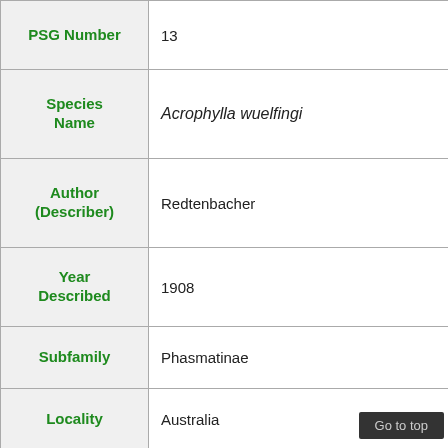| Field | Value |
| --- | --- |
| PSG Number | 13 |
| Species Name | Acrophylla wuelfingi |
| Author (Describer) | Redtenbacher |
| Year Described | 1908 |
| Subfamily | Phasmatinae |
| Locality | Australia |
| Culture Status | In culture |
| Reproduction | Sexual |
| Wings | Can fly or glide |
| Female Size |  |